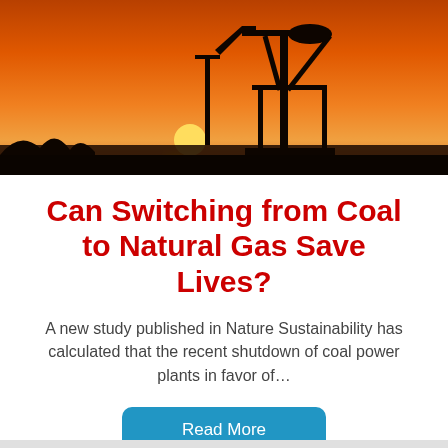[Figure (photo): Silhouette of an oil pump jack against a vivid orange and red sunset sky, with industrial structures visible in the background.]
Can Switching from Coal to Natural Gas Save Lives?
A new study published in Nature Sustainability has calculated that the recent shutdown of coal power plants in favor of…
Read More